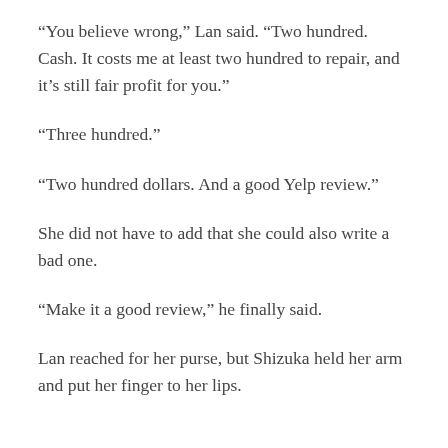“You believe wrong,” Lan said. “Two hundred. Cash. It costs me at least two hundred to repair, and it’s still fair profit for you.”
“Three hundred.”
“Two hundred dollars. And a good Yelp review.”
She did not have to add that she could also write a bad one.
“Make it a good review,” he finally said.
Lan reached for her purse, but Shizuka held her arm and put her finger to her lips.